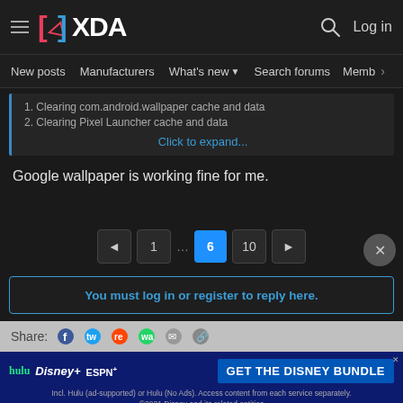XDA — New posts | Manufacturers | What's new | Search forums | Members
1. Clearing com.android.wallpaper cache and data
2. Clearing Pixel Launcher cache and data
Click to expand...
Google wallpaper is working fine for me.
◄ 1 … 6 10 ►
You must log in or register to reply here.
Share:
[Figure (screenshot): Disney Bundle advertisement banner: hulu, Disney+, ESPN+, GET THE DISNEY BUNDLE. Incl. Hulu (ad-supported) or Hulu (No Ads). Access content from each service separately. ©2021 Disney and its related entities]
Similar